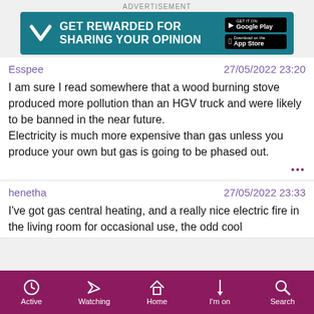[Figure (other): Advertisement banner: GET REWARDED FOR SHARING YOUR OPINION with Google Play and App Store buttons on teal background]
Esspee	27/05/2022 23:20
I am sure I read somewhere that a wood burning stove produced more pollution than an HGV truck and were likely to be banned in the near future.
Electricity is much more expensive than gas unless you produce your own but gas is going to be phased out.
henetha	27/05/2022 23:33
I've got gas central heating, and a really nice electric fire in the living room for occasional use, the odd cool
Active | Watching | Home | I'm on | Search